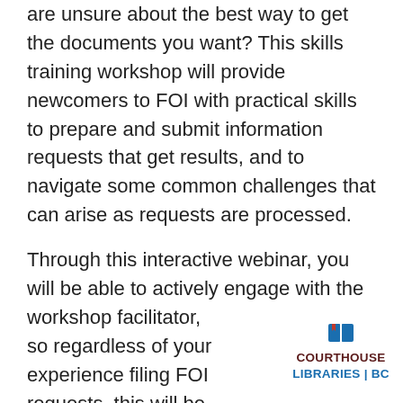are unsure about the best way to get the documents you want? This skills training workshop will provide newcomers to FOI with practical skills to prepare and submit information requests that get results, and to navigate some common challenges that can arise as requests are processed.
Through this interactive webinar, you will be able to actively engage with the workshop facilitator, so regardless of your experience filing FOI requests, this will be an invaluable opportunity to learn
[Figure (logo): Courthouse Libraries BC logo with book icon above text]